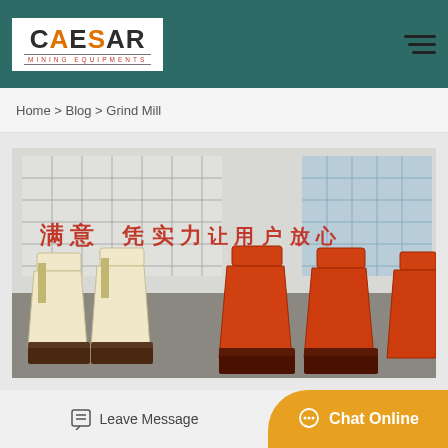[Figure (logo): Caesar Mining Equipments logo - white box with stylized CAESAR text and red subtitle]
Home > Blog > Grind Mill
[Figure (photo): Industrial mining equipment photo showing cream/white and orange cone crushers lined up in a factory yard with a large white industrial building in the background with Chinese characters]
Leave Message
Chat Online